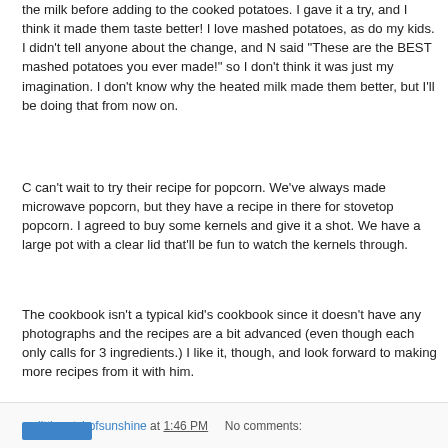the milk before adding to the cooked potatoes. I gave it a try, and I think it made them taste better! I love mashed potatoes, as do my kids. I didn't tell anyone about the change, and N said "These are the BEST mashed potatoes you ever made!" so I don't think it was just my imagination. I don't know why the heated milk made them better, but I'll be doing that from now on.
C can't wait to try their recipe for popcorn. We've always made microwave popcorn, but they have a recipe in there for stovetop popcorn. I agreed to buy some kernels and give it a shot. We have a large pot with a clear lid that'll be fun to watch the kernels through.
The cookbook isn't a typical kid's cookbook since it doesn't have any photographs and the recipes are a bit advanced (even though each only calls for 3 ingredients.) I like it, though, and look forward to making more recipes from it with him.
mylittlepatchofsunshine at 1:46 PM    No comments: